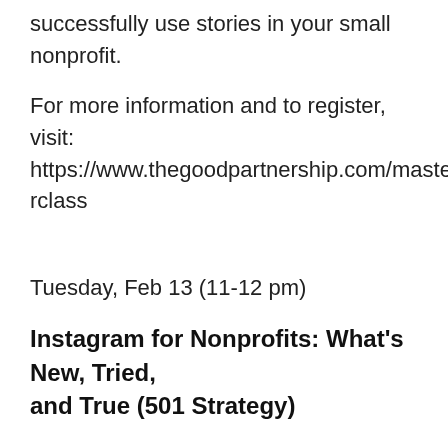successfully use stories in your small nonprofit.
For more information and to register, visit: https://www.thegoodpartnership.com/masterclass
Tuesday, Feb 13 (11-12 pm)
Instagram for Nonprofits: What's New, Tried, and True (501 Strategy)
Over the last two years nonprofits have seen phenomenal growth on Instagram with an average 101% follower increase. At the end of last year Instagram announced that users can now